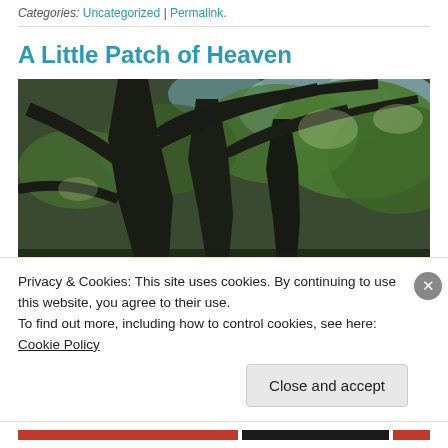Categories: Uncategorized | Permalink.
A Little Patch of Heaven
[Figure (photo): Photo of large dark oak tree trunks with branches spreading against a backdrop of green foliage and bright sky.]
Privacy & Cookies: This site uses cookies. By continuing to use this website, you agree to their use.
To find out more, including how to control cookies, see here: Cookie Policy
Close and accept